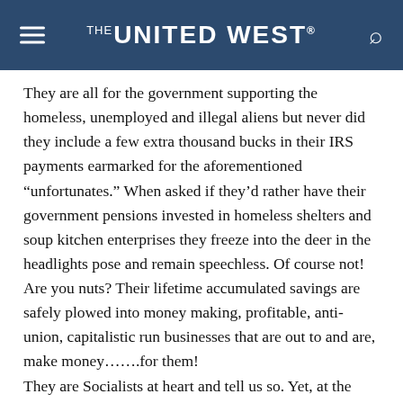THE UNITED WEST
They are all for the government supporting the homeless, unemployed and illegal aliens but never did they include a few extra thousand bucks in their IRS payments earmarked for the aforementioned “unfortunates.” When asked if they’d rather have their government pensions invested in homeless shelters and soup kitchen enterprises they freeze into the deer in the headlights pose and remain speechless. Of course not! Are you nuts? Their lifetime accumulated savings are safely plowed into money making, profitable, anti-union, capitalistic run businesses that are out to and are, make money…….for them!
They are Socialists at heart and tell us so. Yet, at the drop of a hat, they’ll go on about how financially successful their kids are. Strange that none of them seem to have offspring that are union’d taxi drivers, shipping clerks or mere factory